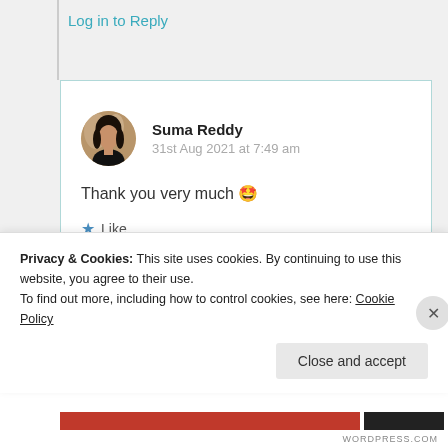Log in to Reply
Suma Reddy
31st Aug 2021 at 7:49 am
Thank you very much 🤩
★ Like
Log in to Reply
Privacy & Cookies: This site uses cookies. By continuing to use this website, you agree to their use.
To find out more, including how to control cookies, see here: Cookie Policy
Close and accept